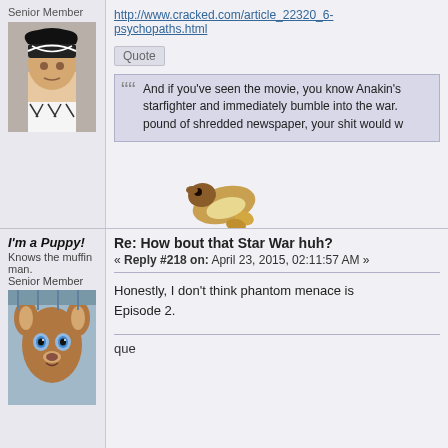Senior Member
[Figure (photo): Photo of a person wearing a white headband with black pattern, wearing a tank top]
http://www.cracked.com/article_22320_6-psychopaths.html
Quote
And if you've seen the movie, you know Anakin's starfighter and immediately bumble into the war. pound of shredded newspaper, your shit would w
[Figure (illustration): Emoji or sticker image of a small animal or creature lying down]
I'm a Puppy!
Knows the muffin man. Senior Member
[Figure (photo): Close-up photo of a young deer or fawn with blue eyes looking at camera]
Re: How bout that Star War huh?
« Reply #218 on: April 23, 2015, 02:11:57 AM »
Honestly, I don't think phantom menace is Episode 2.
que